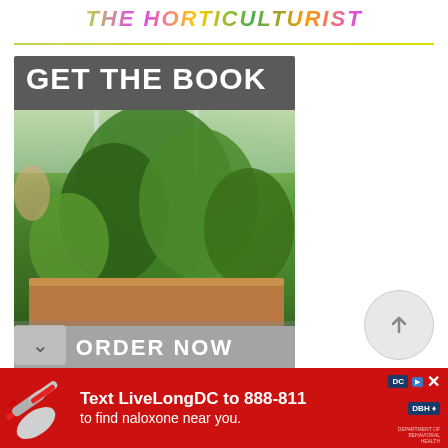THE HORTICULTURIST
[Figure (photo): Book advertisement showing indoor ferns and houseplants in a wooden planter box on a windowsill, with text 'GET THE BOOK' at top and 'ORDER NOW' button at bottom]
[Figure (infographic): Red advertisement banner: 'Text LiveLongDC to 888-811 to find naloxone near you.' with DC and DBH logos, and image of naloxone/narcan tubes on left]